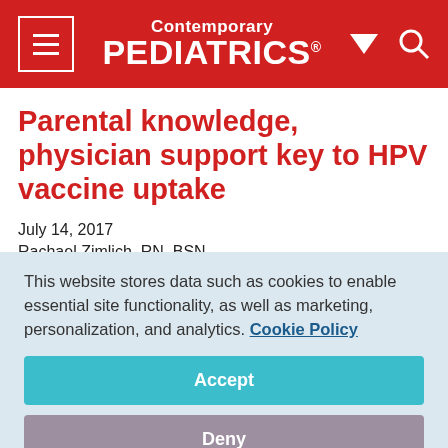Contemporary PEDIATRICS
Parental knowledge, physician support key to HPV vaccine uptake
July 14, 2017
Rachael Zimlich, RN, BSN
[Figure (other): Social media sharing icons: Facebook, Twitter, LinkedIn, Pinterest, Email]
This website stores data such as cookies to enable essential site functionality, as well as marketing, personalization, and analytics. Cookie Policy
Accept
Deny